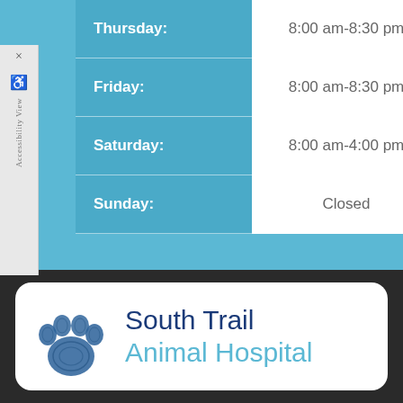| Day | Hours |
| --- | --- |
| Thursday: | 8:00 am-8:30 pm |
| Friday: | 8:00 am-8:30 pm |
| Saturday: | 8:00 am-4:00 pm |
| Sunday: | Closed |
[Figure (logo): South Trail Animal Hospital logo with blue paw print and text]